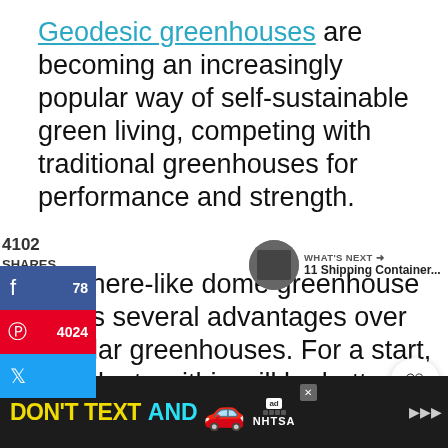Geodesic greenhouses are becoming an increasingly popular way of self-sustainable green living, competing with traditional greenhouses for performance and strength.
4102 SHARES
A sphere-like dome greenhouse offers several advantages over regular greenhouses. For a start, the plants within will be better insulated and less affected by temperature fluctuations, guaranteeing a more even average temperature all year round.
[Figure (screenshot): Social sharing sidebar with Facebook (78), Pinterest (4024), and Twitter buttons. Heart/like button showing 4.1K and share button on right side.]
[Figure (screenshot): What's Next promo with thumbnail and text '11 Shipping Container...']
[Figure (screenshot): Advertisement banner at bottom: DON'T TEXT AND [car emoji] with NHTSA logo, ad badge, close button, and volume/dots icon]